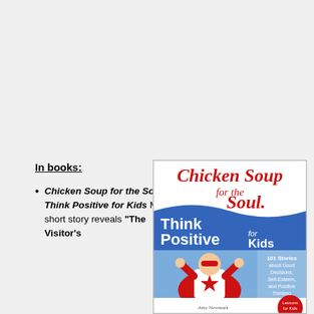In books:
Chicken Soup for the Soul: Think Positive for Kids My short story reveals “The Visitor’s
[Figure (illustration): Book cover of Chicken Soup for the Soul: Think Positive for Kids, featuring a child dressed as a superhero with a red cape and mask, flexing arms. Red script title at top reads 'Chicken Soup for the Soul.' Blue wave band with white text 'Think Positive for Kids'. Right side lists '101 Stories about Good Decisions, Self-Esteem, and Positive Thinking'. Bottom reads 'Lessons for Kids'.]